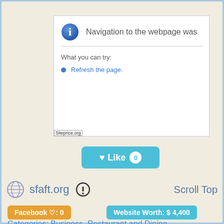[Figure (screenshot): Browser error page screenshot showing 'Navigation to the webpage was' with info icon, a divider, 'What you can try:' text, and 'Refresh the page.' bullet point. Siteprice.org watermark at bottom left.]
[Figure (infographic): Teal 'Like 0' button with heart icon and circular count badge showing 0]
sfaft.org
Scroll Top
Facebook ♡: 0
Website Worth: $ 4,400
Categories: Business, Restaurant and Dining